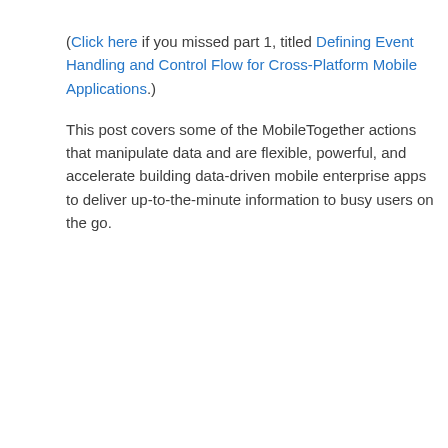(Click here if you missed part 1, titled Defining Event Handling and Control Flow for Cross-Platform Mobile Applications.)
This post covers some of the MobileTogether actions that manipulate data and are flexible, powerful, and accelerate building data-driven mobile enterprise apps to deliver up-to-the-minute information to busy users on the go.